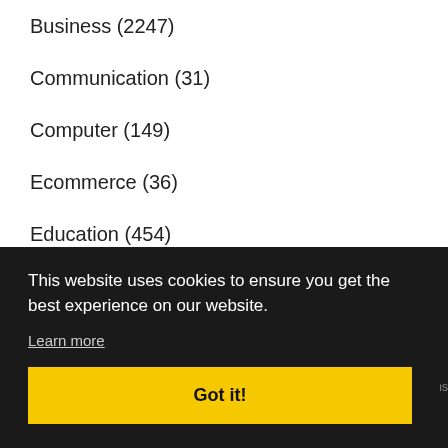Business (2247)
Communication (31)
Computer (149)
Ecommerce (36)
Education (454)
Electronics (91)
Energy (5)
This website uses cookies to ensure you get the best experience on our website.
Learn more
Got it!
ditions